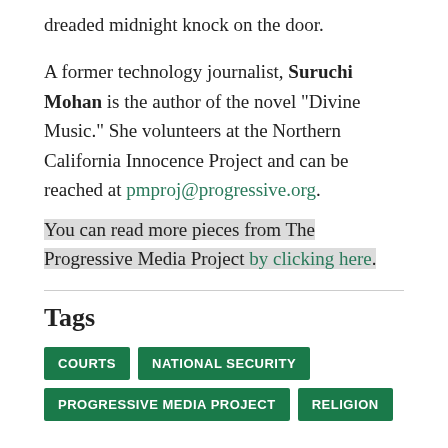dreaded midnight knock on the door.
A former technology journalist, Suruchi Mohan is the author of the novel "Divine Music." She volunteers at the Northern California Innocence Project and can be reached at pmproj@progressive.org.
You can read more pieces from The Progressive Media Project by clicking here.
Tags
COURTS
NATIONAL SECURITY
PROGRESSIVE MEDIA PROJECT
RELIGION